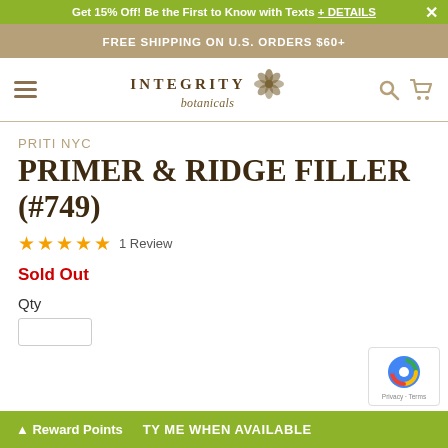Get 15% Off! Be the First to Know with Texts + DETAILS
FREE SHIPPING ON U.S. ORDERS $60+
INTEGRITY botanicals
PRITI NYC
PRIMER & RIDGE FILLER (#749)
★★★★★ 1 Review
Sold Out
Qty
Reward Points   TY ME WHEN AVAILABLE